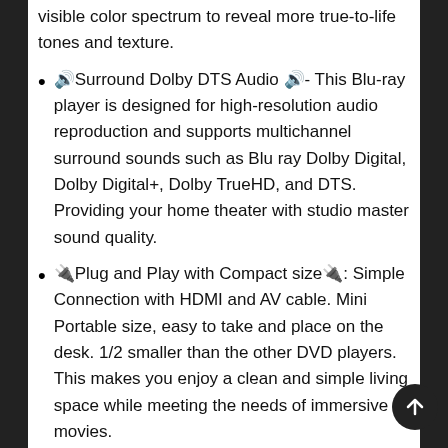visible color spectrum to reveal more true-to-life tones and texture.
🔊Surround Dolby DTS Audio 🔊- This Blu-ray player is designed for high-resolution audio reproduction and supports multichannel surround sounds such as Blu ray Dolby Digital, Dolby Digital+, Dolby TrueHD, and DTS. Providing your home theater with studio master sound quality.
🔌Plug and Play with Compact size🔌: Simple Connection with HDMI and AV cable. Mini Portable size, easy to take and place on the desk. 1/2 smaller than the other DVD players. This makes you enjoy a clean and simple living space while meeting the needs of immersive movies.